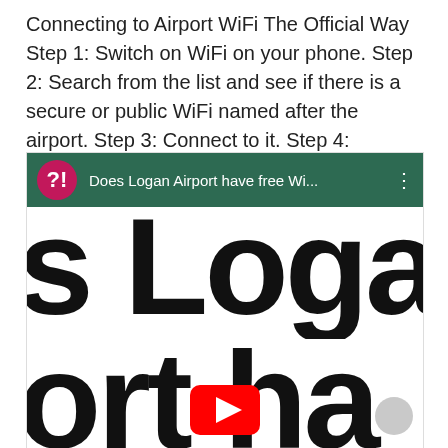Connecting to Airport WiFi The Official Way Step 1: Switch on WiFi on your phone. Step 2: Search from the list and see if there is a secure or public WiFi named after the airport. Step 3: Connect to it. Step 4: Register your mobile number or email address.
[Figure (screenshot): YouTube video thumbnail/player showing 'Does Logan Airport have free Wi...' with large cropped text 's Loga' and 'ort ha' visible in bold black, YouTube play button (red) overlaid, green header bar with pink avatar icon showing '?!' and three-dot menu]